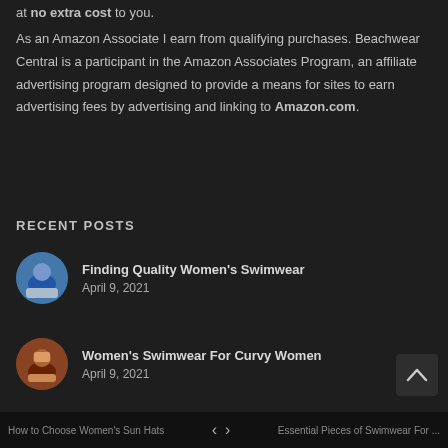at no extra cost to you.
As an Amazon Associate I earn from qualifying purchases. Beachwear Central is a participant in the Amazon Associates Program, an affiliate advertising program designed to provide a means for sites to earn advertising fees by advertising and linking to Amazon.com.
RECENT POSTS
Finding Quality Women's Swimwear
April 9, 2021
Women's Swimwear For Curvy Women
April 9, 2021
What Color Swimsuit Looks Best?
How to Choose Women's Sun Hats    <    >    Essential Pieces of Swimwear For ...